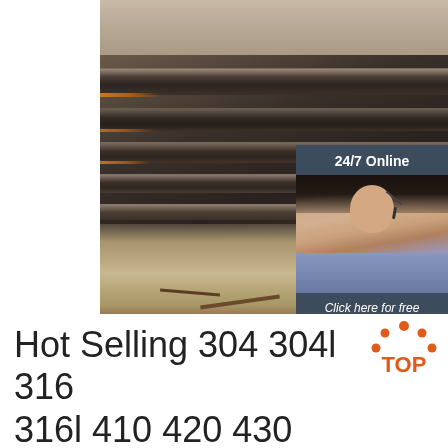[Figure (photo): Photo of stacked steel/metal sheets or plates stored outdoors, with a customer service chat widget overlay showing '24/7 Online', a female agent with headset, 'Click here for free chat!' text, and an orange 'QUOTATION' button on a dark blue-grey background.]
Hot Selling 304 304l 316 316l 410 420 430 Stainless Steel ...